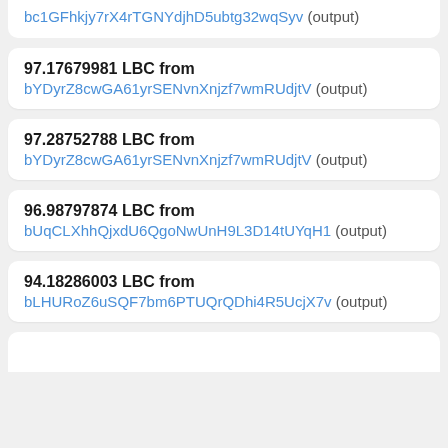bc1GFhkjy7rX4rTGNYdjhD5ubtg32wqSyv (output)
97.17679981 LBC from bYDyrZ8cwGA61yrSENvnXnjzf7wmRUdjtV (output)
97.28752788 LBC from bYDyrZ8cwGA61yrSENvnXnjzf7wmRUdjtV (output)
96.98797874 LBC from bUqCLXhhQjxdU6QgoNwUnH9L3D14tUYqH1 (output)
94.18286003 LBC from bLHURoZ6uSQF7bm6PTUQrQDhi4R5UcjX7v (output)